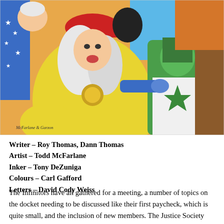[Figure (illustration): Comic book illustration showing superhero characters in action. A woman in a yellow outfit and red cap with white hair is prominent in the foreground, holding something gold. A green-skinned woman in a white and green star costume is to the right. Other colorful superhero characters fill the background. Signed 'McFarlane & Garzon' in the lower left.]
Writer – Roy Thomas, Dann Thomas
Artist – Todd McFarlane
Inker – Tony DeZuniga
Colours – Carl Gafford
Letters – David Cody Weiss
The Infinitors have all gathered for a meeting, a number of topics on the docket needing to be discussed like their first paycheck, which is quite small, and the inclusion of new members. The Justice Society arrives just then and they vote